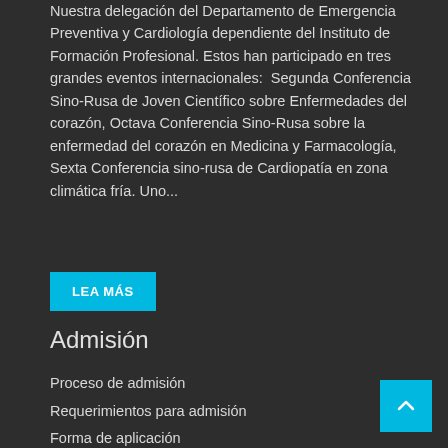Nuestra delegación del Departamento de Emergencia Preventiva y Cardiología dependiente del Instituto de Formación Profesional. Estos han participado en tres grandes eventos internacionales:  Segunda Conferencia Sino-Rusa de Joven Científico sobre Enfermedades del corazón, Octava Conferencia Sino-Rusa sobre la enfermedad del corazón en Medicina y Farmacología, Sexta Conferencia sino-rusa de Cardiopatía en zona climática fría. Uno...
LEA MÁS
Admisión
Proceso de admisión
Requerimientos para admisión
Forma de aplicación
Admisión 2020-2021